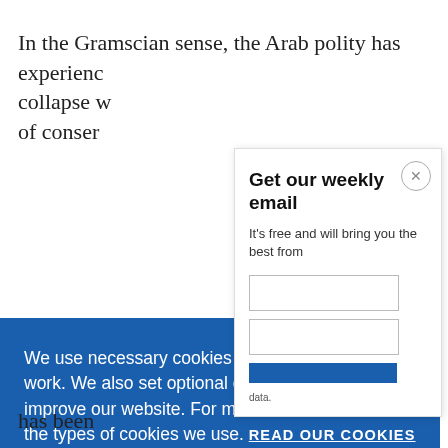In the Gramscian sense, the Arab polity has experienced collapse w of conser
We use necessary cookies that allow our site to work. We also set optional cookies that help us improve our website. For more information about the types of cookies we use. READ OUR COOKIES POLICY HERE
COOKIE SETTINGS
ALLOW ALL COOKIES
Get our weekly email
It's free and will bring you the best from
data.
has been